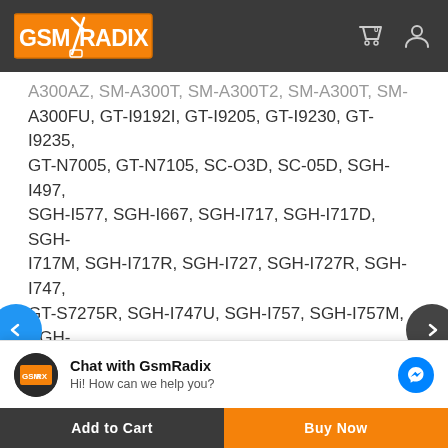[Figure (logo): GsmRadix logo with orange background and white text, shopping cart icon with 0 badge, user account icon]
A300AZ, SM-A300T, SM-A300T2, SM-A300T, SM-A300FU, GT-I9192I, GT-I9205, GT-I9230, GT-I9235, GT-N7005, GT-N7105, SC-O3D, SC-05D, SGH-I497, SGH-I577, SGH-I667, SGH-I717, SGH-I717D, SGH-I717M, SGH-I717R, SGH-I727, SGH-I727R, SGH-I747, GT-S7275R, SGH-I747U, SGH-I757, SGH-I757M, SGH-I957, SGH-I957D, SGH-I957M, SGH-T769, SGH-T989, SGH-T989D, SM-A3000, SM-A300H, SM-A300M, SM-A300XU, SM-A300XZ, SM-A300YZ, SM-A5000, SM-A5009, SM-G3509I, SM-G360M, SM-G5108, SM-G5108Q, SM-G5109, SM-G5306W, SM-G5308W, SM-G5309W, SM-G530BT, SM-G530F, SM-G530FZ, SM-
[Figure (screenshot): Chat with GsmRadix messenger widget. Shows avatar, title Chat with GsmRadix, subtitle Hi! How can we help you?, and blue messenger icon]
Add to Cart
Buy Now